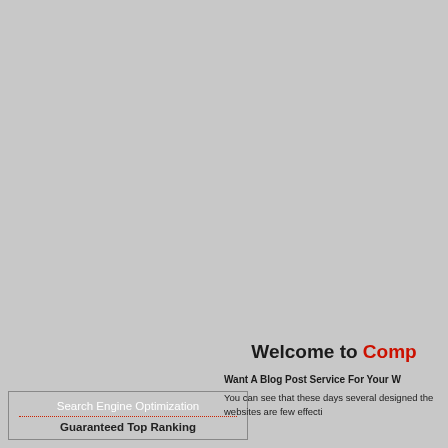[Figure (screenshot): Large grey background area occupying the upper portion of the page]
Search Engine Optimization
Guaranteed Top Ranking
Welcome to Comp
Want A Blog Post Service For Your W
You can see that these days several designed the websites are few effecti